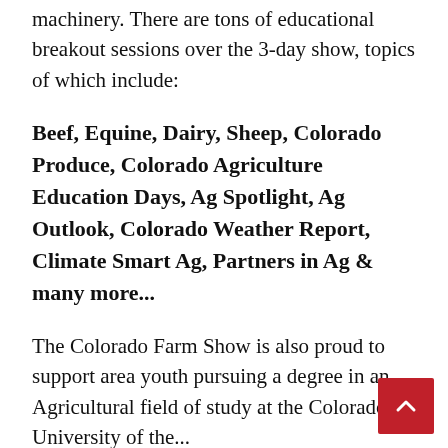machinery. There are tons of educational breakout sessions over the 3-day show, topics of which include:
Beef, Equine, Dairy, Sheep, Colorado Produce, Colorado Agriculture Education Days, Ag Spotlight, Ag Outlook, Colorado Weather Report, Climate Smart Ag, Partners in Ag & many more...
The Colorado Farm Show is also proud to support area youth pursuing a degree in an Agricultural field of study at the Colorado University of the...